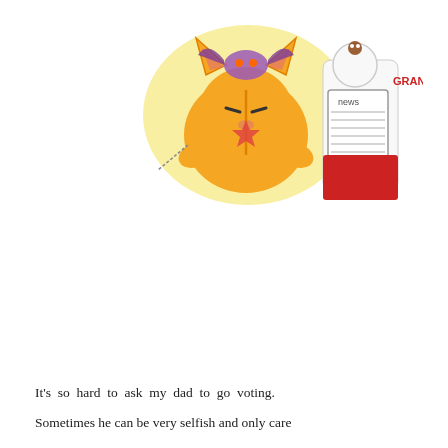[Figure (illustration): Comic panel showing an orange cartoon cat being confronted by a purple bat-winged creature while a white cat reads a newspaper. Text 'GRAND..' in red appears to the right.]
[Figure (illustration): Comic panel showing an orange cartoon cat with a halo (angel) looking surprised, saying 'YEAH!!' in purple text. A pink speech bubble from a small creature says 'TOMORROW, WHAT TIME ARE YOU GOING?' A white cat reads a newspaper labeled 'news'. A photobucket watermark is visible.]
It's so hard to ask my dad to go voting. Sometimes he can be very selfish and only care